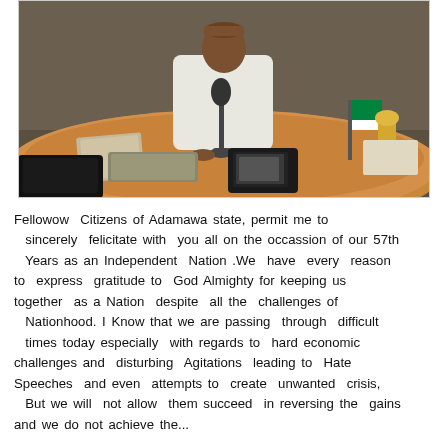[Figure (photo): A man in a white traditional Nigerian garment (babariga) sits behind a large curved wooden desk with a microphone in front of him. A camera and monitor are visible in the foreground. Nigerian flags and a trophy are visible on the right side of the desk. Papers and other items are on the desk.]
Fellowow  Citizens of Adamawa state, permit me to sincerely  felicitate with  you all on the occassion of our 57th Years as an Independent  Nation .We  have  every  reason to  express  gratitude to  God Almighty for keeping us together  as a Nation  despite  all the  challenges of  Nationhood. I Know that we are passing  through  difficult  times today especially  with regards to  hard economic challenges and  disturbing  Agitations  leading to  Hate Speeches  and even  attempts to  create  unwanted  crisis, But we will  not allow  them succeed  in reversing the  gains and we do not achieve the...